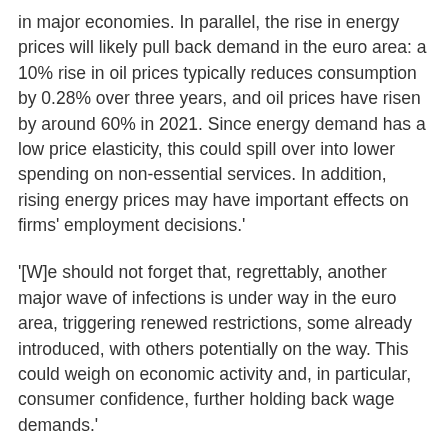in major economies. In parallel, the rise in energy prices will likely pull back demand in the euro area: a 10% rise in oil prices typically reduces consumption by 0.28% over three years, and oil prices have risen by around 60% in 2021. Since energy demand has a low price elasticity, this could spill over into lower spending on non-essential services. In addition, rising energy prices may have important effects on firms' employment decisions.'
'[W]e should not forget that, regrettably, another major wave of infections is under way in the euro area, triggering renewed restrictions, some already introduced, with others potentially on the way. This could weigh on economic activity and, in particular, consumer confidence, further holding back wage demands.'
'So, if the sources of higher inflation today do last longer, there is little or no evidence at this stage to suggest that they would feed into wage-price spirals or a de-anchoring of inflation